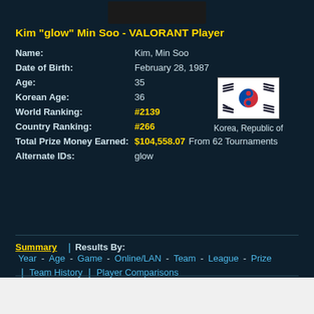[Figure (photo): Player profile photo placeholder (dark rectangle)]
Kim "glow" Min Soo - VALORANT Player
Name: Kim, Min Soo
Date of Birth: February 28, 1987
Age: 35
[Figure (illustration): Flag of Korea, Republic of]
Korea, Republic of
Korean Age: 36
World Ranking: #2139
Country Ranking: #266
Total Prize Money Earned: $104,558.07 From 62 Tournaments
Alternate IDs: glow
Summary | Results By: Year - Age - Game - Online/LAN - Team - League - Prize | Team History | Player Comparisons